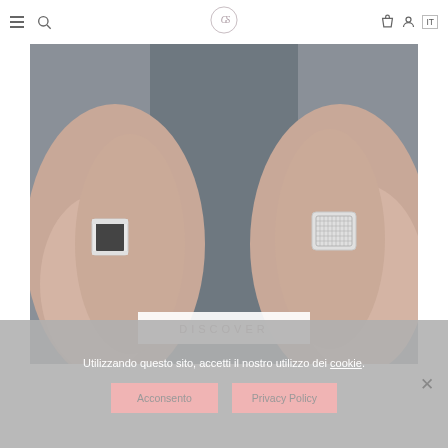Navigation bar with hamburger menu, search, logo (GS monogram), bag, account, IT
[Figure (photo): Two hands wearing silver rings against a dark suit background. Left hand wears a square black onyx signet ring; right hand wears a square engraved silver ring with geometric pattern.]
DISCOVER
Utilizzando questo sito, accetti il nostro utilizzo dei cookie.
Acconsento
Privacy Policy